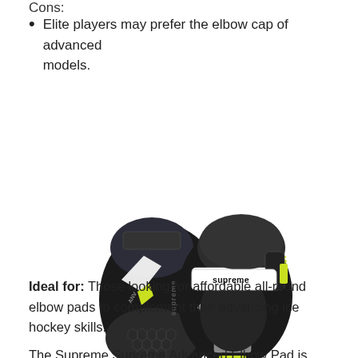Cons:
Elite players may prefer the elbow cap of advanced models.
[Figure (photo): Two Bauer Supreme hockey elbow pads shown side by side — black with white and yellow-green accents, displaying the Supreme branding label.]
Ideal for: Those looking for affordable all-round elbow pads to complement their advancing ice hockey skills.
The Supreme Supreme Advanced Elbow Pad is worth a look if